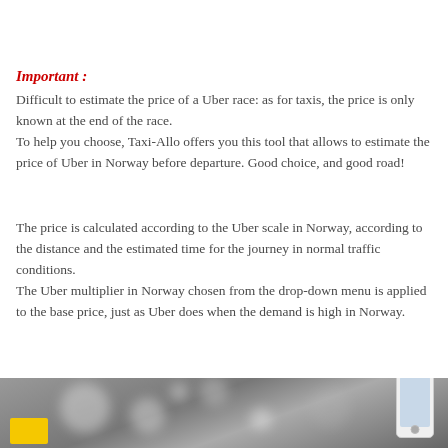Important :
Difficult to estimate the price of a Uber race: as for taxis, the price is only known at the end of the race.
To help you choose, Taxi-Allo offers you this tool that allows to estimate the price of Uber in Norway before departure. Good choice, and good road!
The price is calculated according to the Uber scale in Norway, according to the distance and the estimated time for the journey in normal traffic conditions.
The Uber multiplier in Norway chosen from the drop-down menu is applied to the base price, just as Uber does when the demand is high in Norway.
[Figure (photo): Blurred bokeh background photo with a smartphone visible on the right side and a yellow rectangle element in the lower left, suggesting a taxi or ride-hailing app context.]